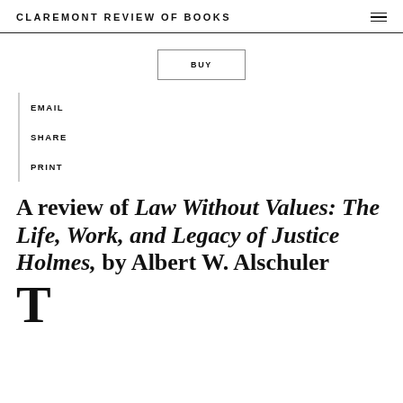CLAREMONT REVIEW OF BOOKS
BUY
EMAIL
SHARE
PRINT
A review of Law Without Values: The Life, Work, and Legacy of Justice Holmes, by Albert W. Alschuler
T